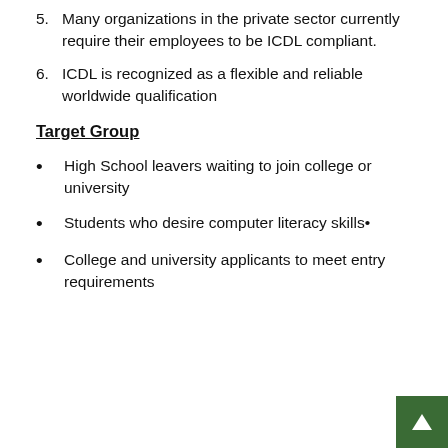5. Many organizations in the private sector currently require their employees to be ICDL compliant.
6. ICDL is recognized as a flexible and reliable worldwide qualification
Target Group
High School leavers waiting to join college or university
Students who desire computer literacy skills•
College and university applicants to meet entry requirements